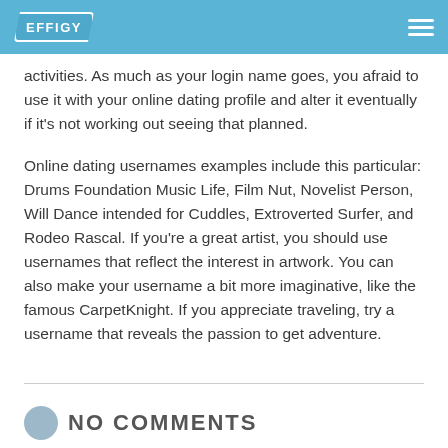EFFIGY
activities. As much as your login name goes, you afraid to use it with your online dating profile and alter it eventually if it's not working out seeing that planned.
Online dating usernames examples include this particular: Drums Foundation Music Life, Film Nut, Novelist Person, Will Dance intended for Cuddles, Extroverted Surfer, and Rodeo Rascal. If you're a great artist, you should use usernames that reflect the interest in artwork. You can also make your username a bit more imaginative, like the famous CarpetKnight. If you appreciate traveling, try a username that reveals the passion to get adventure.
NO COMMENTS